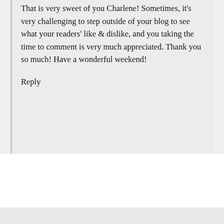That is very sweet of you Charlene! Sometimes, it's very challenging to step outside of your blog to see what your readers' like & dislike, and you taking the time to comment is very much appreciated. Thank you so much! Have a wonderful weekend!
Reply